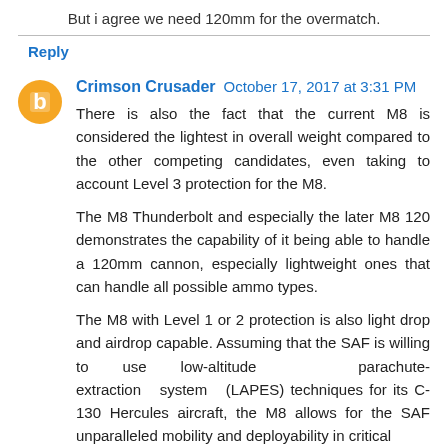But i agree we need 120mm for the overmatch.
Reply
Crimson Crusader October 17, 2017 at 3:31 PM
There is also the fact that the current M8 is considered the lightest in overall weight compared to the other competing candidates, even taking to account Level 3 protection for the M8.
The M8 Thunderbolt and especially the later M8 120 demonstrates the capability of it being able to handle a 120mm cannon, especially lightweight ones that can handle all possible ammo types.
The M8 with Level 1 or 2 protection is also light drop and airdrop capable. Assuming that the SAF is willing to use low-altitude parachute-extraction system (LAPES) techniques for its C-130 Hercules aircraft, the M8 allows for the SAF unparalleled mobility and deployability in critical